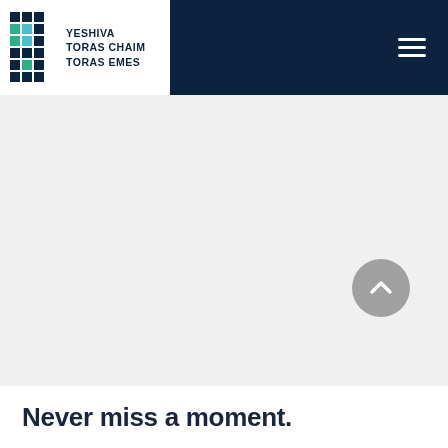[Figure (logo): Yeshiva Toras Chaim Toras Emes logo with geometric grid icon and school name]
[Figure (infographic): Pagination navigation showing pages: left arrow, 1, ..., 128, 129 (current/underlined), 130, ..., 140, right arrow. Buttons are teal/green squares with white text.]
[Figure (other): Gray circular scroll-to-top button with white upward chevron arrow]
Never miss a moment.